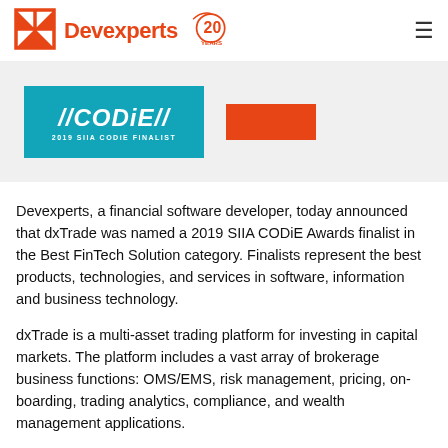Devexperts
[Figure (screenshot): 2019 SIIA CODiE Finalist banner on teal/cyan background, with an orange rectangle to the right]
Devexperts, a financial software developer, today announced that dxTrade was named a 2019 SIIA CODiE Awards finalist in the Best FinTech Solution category. Finalists represent the best products, technologies, and services in software, information and business technology.
dxTrade is a multi-asset trading platform for investing in capital markets. The platform includes a vast array of brokerage business functions: OMS/EMS, risk management, pricing, on-boarding, trading analytics, compliance, and wealth management applications.